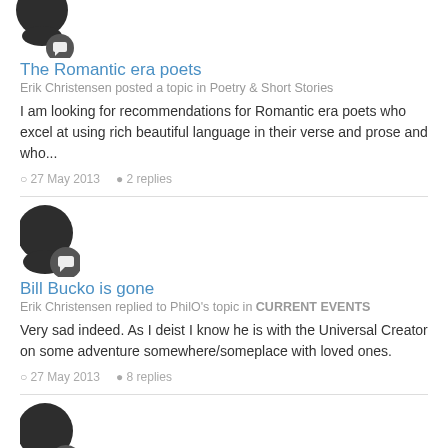[Figure (illustration): User avatar with chat badge icon - partially cropped at top]
The Romantic era poets
Erik Christensen posted a topic in Poetry & Short Stories
I am looking for recommendations for Romantic era poets who excel at using rich beautiful language in their verse and prose and who...
27 May 2013   2 replies
[Figure (illustration): User avatar with chat badge icon]
Bill Bucko is gone
Erik Christensen replied to PhilO's topic in CURRENT EVENTS
Very sad indeed. As I deist I know he is with the Universal Creator on some adventure somewhere/someplace with loved ones.
27 May 2013   8 replies
[Figure (illustration): User avatar with chat badge icon - partially cropped at bottom]